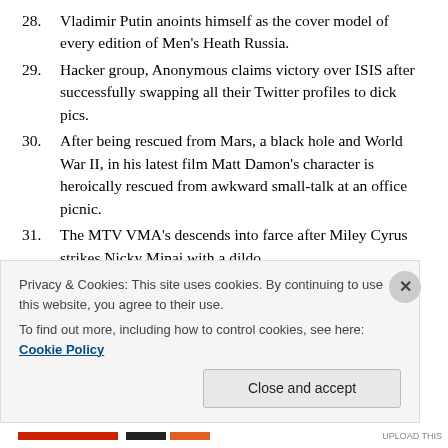28. Vladimir Putin anoints himself as the cover model of every edition of Men's Heath Russia.
29. Hacker group, Anonymous claims victory over ISIS after successfully swapping all their Twitter profiles to dick pics.
30. After being rescued from Mars, a black hole and World War II, in his latest film Matt Damon's character is heroically rescued from awkward small-talk at an office picnic.
31. The MTV VMA's descends into farce after Miley Cyrus strikes Nicky Minaj with a dildo.
32. Nicky responds that evening with “shade” on Twitter.
Privacy & Cookies: This site uses cookies. By continuing to use this website, you agree to their use.
To find out more, including how to control cookies, see here: Cookie Policy
Close and accept